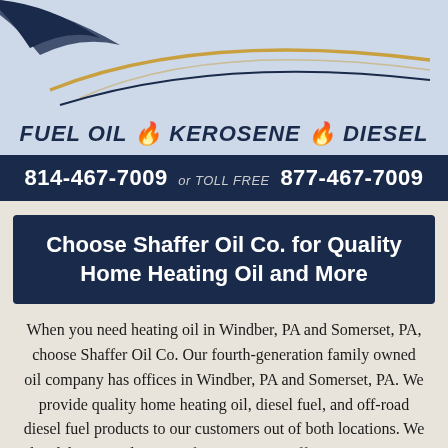[Figure (logo): Shaffer Oil Co. logo banner with swoosh graphic and text: FUEL OIL flame KEROSENE flame DIESEL on light blue background]
814-467-7009 or TOLL FREE 877-467-7009
Choose Shaffer Oil Co. for Quality Home Heating Oil and More
When you need heating oil in Windber, PA and Somerset, PA, choose Shaffer Oil Co. Our fourth-generation family owned oil company has offices in Windber, PA and Somerset, PA. We provide quality home heating oil, diesel fuel, and off-road diesel fuel products to our customers out of both locations. We also deliver gasoline out of our Somerset office. You can count on our automatic heating oil delivery, and senior citizen and quantity discounts. Our